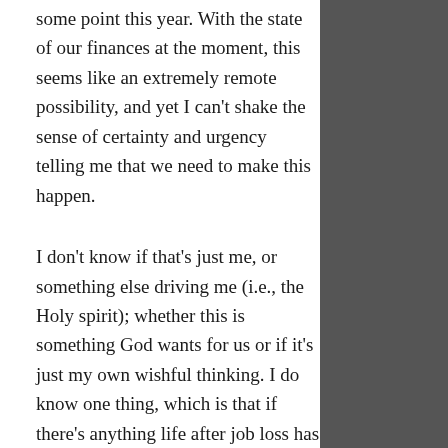some point this year. With the state of our finances at the moment, this seems like an extremely remote possibility, and yet I can't shake the sense of certainty and urgency telling me that we need to make this happen.

I don't know if that's just me, or something else driving me (i.e., the Holy spirit); whether this is something God wants for us or if it's just my own wishful thinking. I do know one thing, which is that if there's anything life after job loss has taught me, it's how to rely on God's provision. So I'm